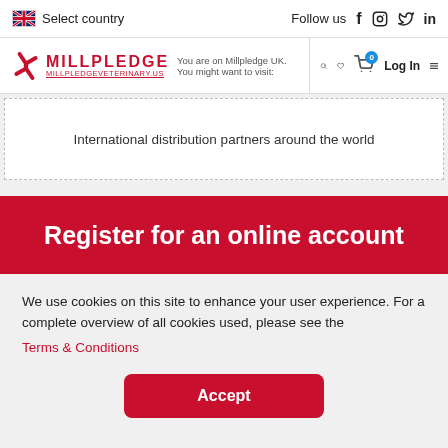Select country | Follow us
MILLPLEDGE | MILLPLEDGEVETERINARY.US | You are on Millpledge UK. You might want to visit: | Log In
International distribution partners around the world
Register for an online account
We use cookies on this site to enhance your user experience. For a complete overview of all cookies used, please see the Terms & Conditions
Accept